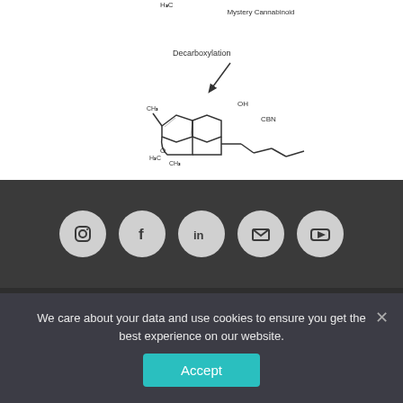[Figure (chemistry-diagram): Chemical structure diagram showing decarboxylation reaction from Mystery Cannabinoid to CBN. Arrow pointing down-left labeled 'Decarboxylation'. Product shown is CBN (cannabinol) chemical structure with tricyclic ring system and pentyl side chain, with OH group.]
[Figure (other): Footer social media icons row: Instagram, Facebook, LinkedIn, Email (envelope), YouTube — white circles on dark grey background]
We care about your data and use cookies to ensure you get the best experience on our website.
Accept